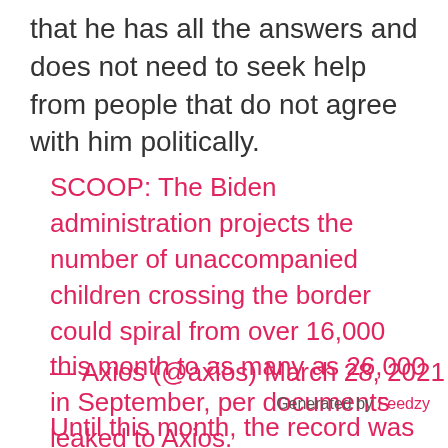that he has all the answers and does not need to seek help from people that do not agree with him politically.
SCOOP: The Biden administration projects the number of unaccompanied children crossing the border could spiral from over 16,000 this month to as many as 26,000 in September, per documents leaked to Axios. https://t.co/X2PdoBJiiR pic.twitter.com/XFdAICtufF
— Axios (@axios) March 28, 2021
Generated by Feedzy
Until this month, the record was 11,475 in